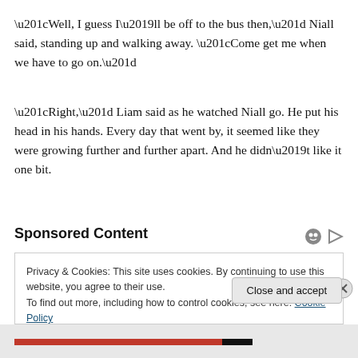“Well, I guess I’ll be off to the bus then,” Niall said, standing up and walking away. “Come get me when we have to go on.”
“Right,” Liam said as he watched Niall go. He put his head in his hands. Every day that went by, it seemed like they were growing further and further apart. And he didn’t like it one bit.
Sponsored Content
Privacy & Cookies: This site uses cookies. By continuing to use this website, you agree to their use.
To find out more, including how to control cookies, see here: Cookie Policy
Close and accept